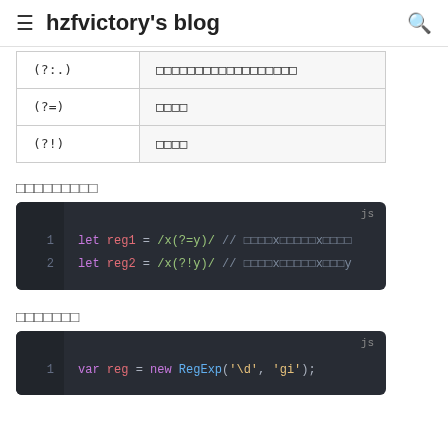hzfvictory's blog
| (?:) | □□□□□□□□□□□□□□□□□□ |
| (?=) | □□□□ |
| (?!) | □□□□ |
□□□□□□□□□
[Figure (screenshot): Code block showing: let reg1 = /x(?=y)/ // □□□□x□□□□□x□□□□; let reg2 = /x(?!y)/ // □□□□x□□□□□x□□□y]
□□□□□□□
[Figure (screenshot): Code block showing: var reg = new RegExp('\d', 'gi');]